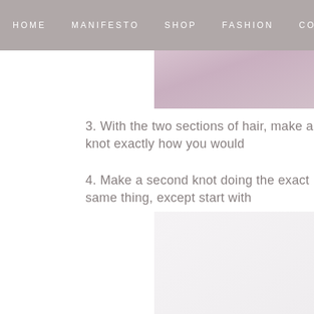HOME   MANIFESTO   SHOP   FASHION   CONTACT
[Figure (photo): Top portion of a woman with blonde hair wearing a pink/mauve knit sweater, cropped at the shoulders]
3. With the two sections of hair, make a knot exactly how you would
4. Make a second knot doing the exact same thing, except start with
[Figure (photo): Woman seen from behind with dark brown hair styled in a knotted low ponytail, wearing a mauve/pink ribbed knit sweater, against a light gray background]